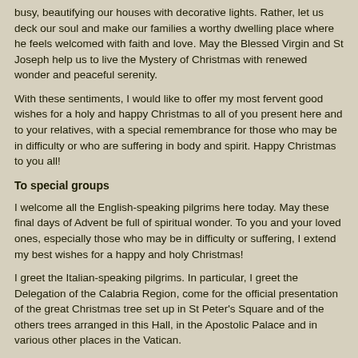busy, beautifying our houses with decorative lights. Rather, let us deck our soul and make our families a worthy dwelling place where he feels welcomed with faith and love. May the Blessed Virgin and St Joseph help us to live the Mystery of Christmas with renewed wonder and peaceful serenity.
With these sentiments, I would like to offer my most fervent good wishes for a holy and happy Christmas to all of you present here and to your relatives, with a special remembrance for those who may be in difficulty or who are suffering in body and spirit. Happy Christmas to you all!
To special groups
I welcome all the English-speaking pilgrims here today. May these final days of Advent be full of spiritual wonder. To you and your loved ones, especially those who may be in difficulty or suffering, I extend my best wishes for a happy and holy Christmas!
I greet the Italian-speaking pilgrims. In particular, I greet the Delegation of the Calabria Region, come for the official presentation of the great Christmas tree set up in St Peter's Square and of the others trees arranged in this Hall, in the Apostolic Palace and in various other places in the Vatican.
I thank you for this gift from your Land of Calabria, a heartfelt "thank you!". And I extend my special thanks to all who made possible this tribute which reminds visitors of the birth of Jesus, Light of the world.
Lastly, I would like to greet the young people, the sick and the newly-weds. Dear friends, thank you for your participation in this encounter. Christmas is in a few days' time, and I imagine that at home you are putting the finishing touches to your cribs, which are a particularly evocative portrayal of the Nativity. I hope that such an important element, not only of our spirituality but also of our culture and art, will continue to be a simple and eloquent way of recalling the One who came